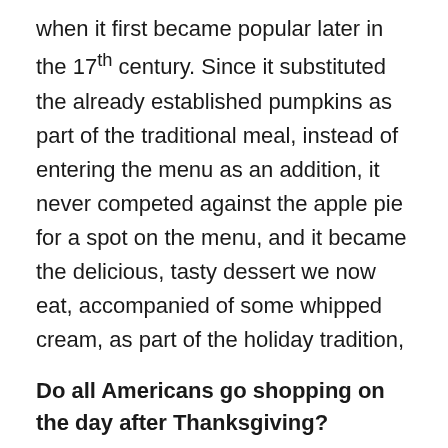when it first became popular later in the 17th century. Since it substituted the already established pumpkins as part of the traditional meal, instead of entering the menu as an addition, it never competed against the apple pie for a spot on the menu, and it became the delicious, tasty dessert we now eat, accompanied of some whipped cream, as part of the holiday tradition,
Do all Americans go shopping on the day after Thanksgiving?
Since the beginning of the 21st century, the Friday after Thanksgiving has been regarded as the beginning of the Christmas shopping season in the U.S. and for that reason, most retailers open their doors very early, even during overnight hours to lure shoppers to come and take advantage of special sales. This day is now known as